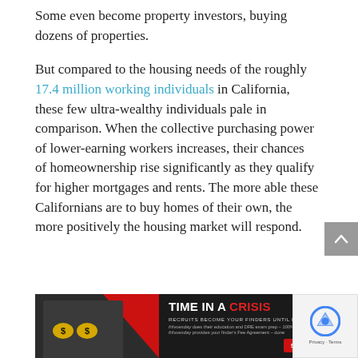Some even become property investors, buying dozens of properties.
But compared to the housing needs of the roughly 17.4 million working individuals in California, these few ultra-wealthy individuals pale in comparison. When the collective purchasing power of lower-earning workers increases, their chances of homeownership rise significantly as they qualify for higher mortgages and rents. The more able these Californians are to buy homes of their own, the more positively the housing market will respond.
[Figure (other): Advertisement banner — TIME IN A CRISIS. Recruits become your finders until license. Shows a man in a suit looking through binoculars with dollar signs on the lenses, red triangle graphic, and a red 'See how it's done' button.]